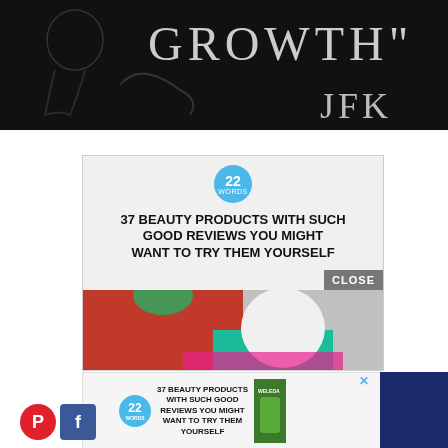[Figure (photo): Black and white image with large text GROWTH" and JFK attribution, with a faint silhouette figure on dark background]
[Figure (screenshot): Advertisement: 22 WORDS badge, headline '37 BEAUTY PRODUCTS WITH SUCH GOOD REVIEWS YOU MIGHT WANT TO TRY THEM YOURSELF', image of strawberry and EOS lip balm product, CLOSE button]
[Figure (screenshot): Smaller ad strip: 22 WORDS badge, same headline, Cetaphil and Weleda product thumbnails, Pinterest and Facebook social icons]